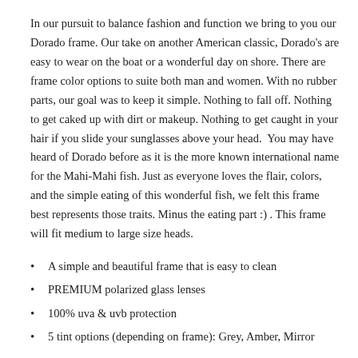In our pursuit to balance fashion and function we bring to you our Dorado frame. Our take on another American classic, Dorado's are easy to wear on the boat or a wonderful day on shore. There are frame color options to suite both man and women. With no rubber parts, our goal was to keep it simple. Nothing to fall off. Nothing to get caked up with dirt or makeup. Nothing to get caught in your hair if you slide your sunglasses above your head.  You may have heard of Dorado before as it is the more known international name for the Mahi-Mahi fish. Just as everyone loves the flair, colors, and the simple eating of this wonderful fish, we felt this frame best represents those traits. Minus the eating part :) . This frame will fit medium to large size heads.
A simple and beautiful frame that is easy to clean
PREMIUM polarized glass lenses
100% uva & uvb protection
5 tint options (depending on frame): Grey, Amber, Mirror